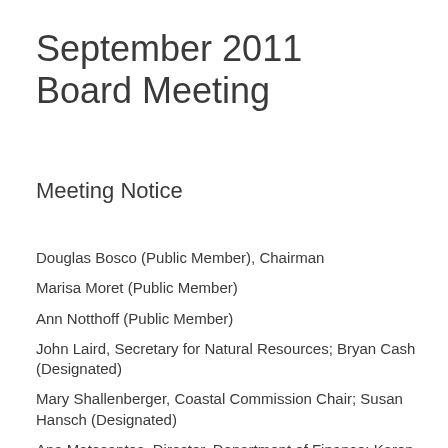September 2011 Board Meeting
Meeting Notice
Douglas Bosco (Public Member), Chairman
Marisa Moret (Public Member)
Ann Notthoff (Public Member)
John Laird, Secretary for Natural Resources; Bryan Cash (Designated)
Mary Shallenberger, Coastal Commission Chair; Susan Hansch (Designated)
Ana Matosantos, Director, Department of Finance; Karen…